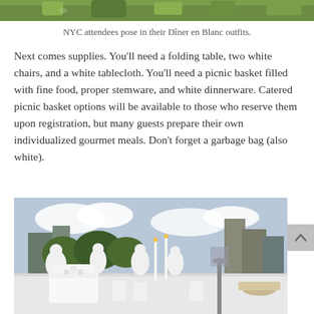[Figure (photo): Top portion of an outdoor photo showing grass/green background, cropped at top of page]
NYC attendees pose in their Dîner en Blanc outfits.
Next comes supplies. You'll need a folding table, two white chairs, and a white tablecloth. You'll need a picnic basket filled with fine food, proper stemware, and white dinnerware. Catered picnic basket options will be available to those who reserve them upon registration, but many guests prepare their own individualized gourmet meals. Don't forget a garbage bag (also white).
[Figure (photo): Outdoor Dîner en Blanc event photo showing people in white outfits seated at white-draped tables, with white candles and a white cake in the foreground, city skyline and trees in background]